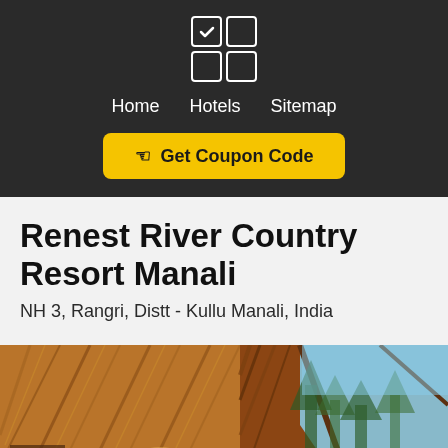[Figure (logo): 2x2 grid icon with top-left cell checked (checkmark), used as site logo]
Home   Hotels   Sitemap
☞ Get Coupon Code
Renest River Country Resort Manali
NH 3, Rangri, Distt - Kullu Manali, India
[Figure (photo): Interior photo of a resort room with wooden slat ceiling in an A-frame style, warm lighting, and a large triangular window showing trees and blue sky outside]